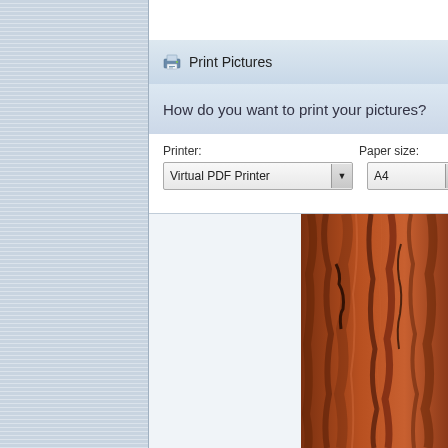[Figure (screenshot): Windows 'Print Pictures' dialog screenshot. Shows title bar 'Print Pictures', subtitle 'How do you want to print your pictures?', Printer dropdown showing 'Virtual PDF Printer', Paper size dropdown showing 'A4', and a preview area with a photo of tree bark on the right side.]
Print Pictures
How do you want to print your pictures?
Printer:
Virtual PDF Printer
Paper size:
A4